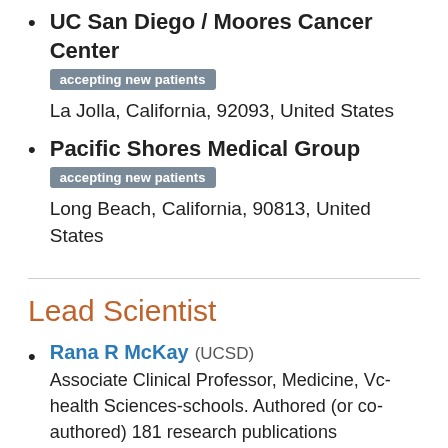UC San Diego / Moores Cancer Center — accepting new patients — La Jolla, California, 92093, United States
Pacific Shores Medical Group — accepting new patients — Long Beach, California, 90813, United States
Lead Scientist
Rana R McKay (UCSD) — Associate Clinical Professor, Medicine, Vc-health Sciences-schools. Authored (or co-authored) 181 research publications